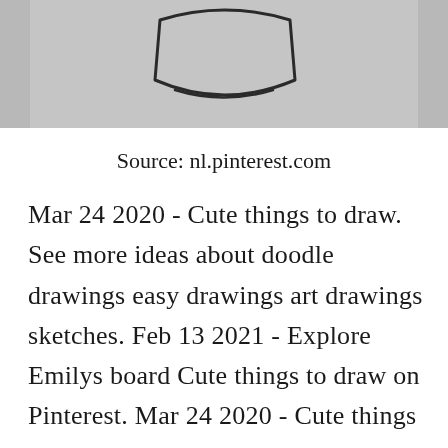[Figure (photo): Partial view of a pencil drawing on gray paper, showing the bottom portion of a sketch (likely a cute doodle), cropped at top.]
Source: nl.pinterest.com
Mar 24 2020 - Cute things to draw. See more ideas about doodle drawings easy drawings art drawings sketches. Feb 13 2021 - Explore Emilys board Cute things to draw on Pinterest. Mar 24 2020 - Cute things to draw. See more ideas about cute drawings easy drawings drawings. Easy Girl Drawing Things To Draw When✕Bored Video In 2020